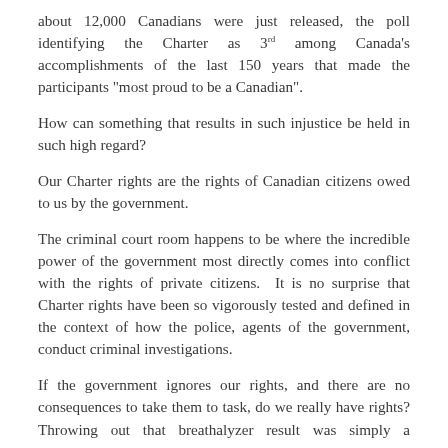about 12,000 Canadians were just released, the poll identifying the Charter as 3rd among Canada's accomplishments of the last 150 years that made the participants "most proud to be a Canadian".
How can something that results in such injustice be held in such high regard?
Our Charter rights are the rights of Canadian citizens owed to us by the government.
The criminal court room happens to be where the incredible power of the government most directly comes into conflict with the rights of private citizens.  It is no surprise that Charter rights have been so vigorously tested and defined in the context of how the police, agents of the government, conduct criminal investigations.
If the government ignores our rights, and there are no consequences to take them to task, do we really have rights? Throwing out that breathalyzer result was simply a consequence to the government for its callous disregard of the accused's rights.